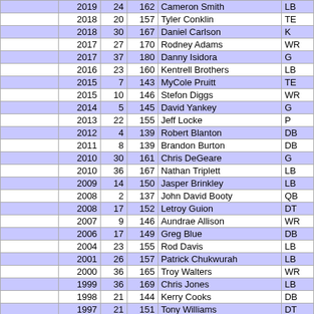|  | Year | Num1 | Num2 | Name | Pos |
| --- | --- | --- | --- | --- | --- |
|  | 2019 | 24 | 162 | Cameron Smith | LB |
|  | 2018 | 20 | 157 | Tyler Conklin | TE |
|  | 2018 | 30 | 167 | Daniel Carlson | K |
|  | 2017 | 27 | 170 | Rodney Adams | WR |
|  | 2017 | 37 | 180 | Danny Isidora | G |
|  | 2016 | 23 | 160 | Kentrell Brothers | LB |
|  | 2015 | 7 | 143 | MyCole Pruitt | TE |
|  | 2015 | 10 | 146 | Stefon Diggs | WR |
|  | 2014 | 5 | 145 | David Yankey | G |
|  | 2013 | 22 | 155 | Jeff Locke | P |
|  | 2012 | 4 | 139 | Robert Blanton | DB |
|  | 2011 | 8 | 139 | Brandon Burton | DB |
|  | 2010 | 30 | 161 | Chris DeGeare | G |
|  | 2010 | 36 | 167 | Nathan Triplett | LB |
|  | 2009 | 14 | 150 | Jasper Brinkley | LB |
|  | 2008 | 2 | 137 | John David Booty | QB |
|  | 2008 | 17 | 152 | Letroy Guion | DT |
|  | 2007 | 9 | 146 | Aundrae Allison | WR |
|  | 2006 | 17 | 149 | Greg Blue | DB |
|  | 2004 | 23 | 155 | Rod Davis | LB |
|  | 2001 | 26 | 157 | Patrick Chukwurah | LB |
|  | 2000 | 36 | 165 | Troy Walters | WR |
|  | 1999 | 36 | 169 | Chris Jones | LB |
|  | 1998 | 21 | 144 | Kerry Cooks | DB |
|  | 1997 | 21 | 151 | Tony Williams | DT |
|  | 1996 | 16 | 148 | Sean Boyd | DB |
|  | 1995 | 23 | 157 | James Stewart | RB |
|  | 1994 | 3 | 134 | Shelly Hammonds | DB |
|  | 1993 | 21 | 133 | Everett Lindsay | T |
|  | 1992 | 13 | 125 | Ed McDaniel | LB |